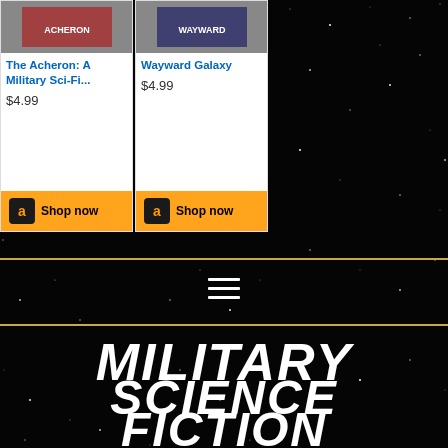[Figure (screenshot): Amazon product card for 'The Acheron: A Military Sci-Fi...' priced at $4.99 with Shop now button]
[Figure (screenshot): Amazon product card for 'Wayward Galaxy' priced at $4.99 with Shop now button]
[Figure (illustration): Starfield background with gold horizontal lines and hamburger menu icon]
MILITARY SCIENCE FICTION